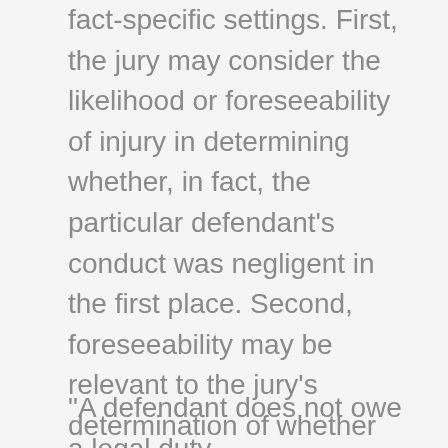fact-specific settings. First, the jury may consider the likelihood or foreseeability of injury in determining whether, in fact, the particular defendant's conduct was negligent in the first place. Second, foreseeability may be relevant to the jury's determination of whether the defendant's negligence was a proximate or legal cause of the plaintiff's injury.' " (Staats v. Vintner's Golf Club, LLC (2018) 25 Cal.App.5th 826, 837 [236 Cal.Rptr.3d 236], original italics, internal citation omitted.)
"A defendant does not owe a legal duty